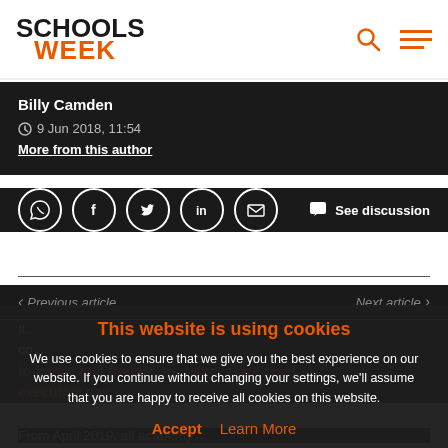[Figure (logo): Schools Week logo with SCHOOLS in black bold and WEEK in orange bold]
Billy Camden
9 Jun 2018, 11:54
More from this author
[Figure (infographic): Social share icons: WhatsApp, Facebook, Twitter, LinkedIn, Email circles, and See discussion button]
Previous article
Next article
This website is using cookies
We use cookies to ensure that we give you the best experience on our website. If you continue without changing your settings, we'll assume that you are happy to receive all cookies on this website.
Accept   Learn More
to family and friends, as... excessive chief executive pay
From April 2019, all academy...